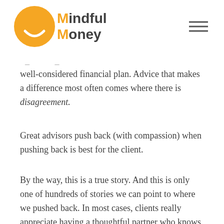[Figure (logo): Mindful Money logo: orange circle with smile and text 'Mindful Money']
well-considered financial plan. Advice that makes a difference most often comes where there is disagreement.
Great advisors push back (with compassion) when pushing back is best for the client.
By the way, this is a true story. And this is only one of hundreds of stories we can point to where we pushed back. In most cases, clients really appreciate having a thoughtful partner who knows them and